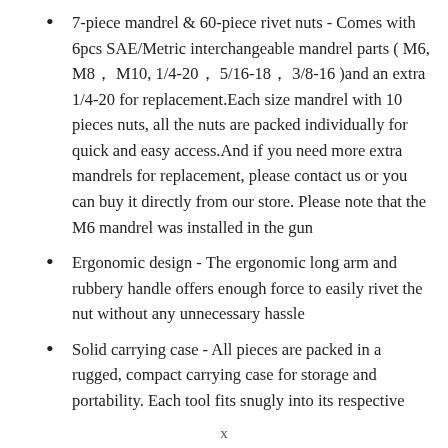7-piece mandrel & 60-piece rivet nuts - Comes with 6pcs SAE/Metric interchangeable mandrel parts ( M6, M8， M10, 1/4-20， 5/16-18， 3/8-16 )and an extra 1/4-20 for replacement.Each size mandrel with 10 pieces nuts, all the nuts are packed individually for quick and easy access.And if you need more extra mandrels for replacement, please contact us or you can buy it directly from our store. Please note that the M6 mandrel was installed in the gun
Ergonomic design - The ergonomic long arm and rubbery handle offers enough force to easily rivet the nut without any unnecessary hassle
Solid carrying case - All pieces are packed in a rugged, compact carrying case for storage and portability. Each tool fits snugly into its respective
x